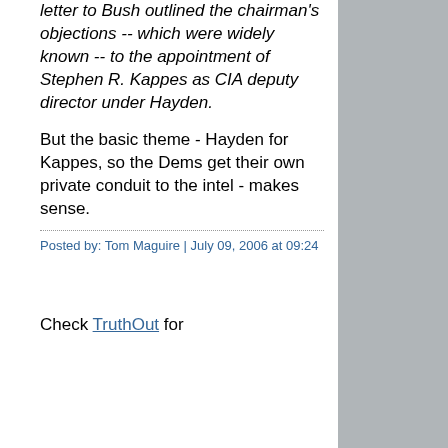letter to Bush outlined the chairman's objections -- which were widely known -- to the appointment of Stephen R. Kappes as CIA deputy director under Hayden.
But the basic theme - Hayden for Kappes, so the Dems get their own private conduit to the intel - makes sense.
Posted by: Tom Maguire | July 09, 2006 at 09:24
Check TruthOut for